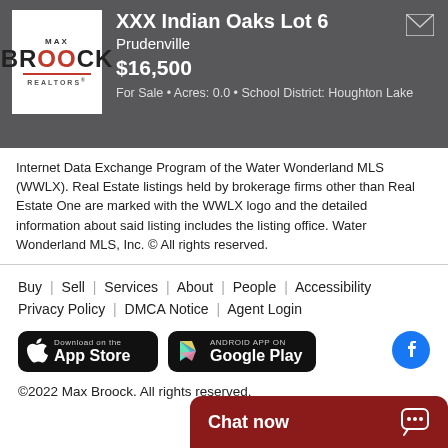[Figure (logo): Max Broock Realtors logo - white box with MAX above BROOCK in bold, red accent lines, REALTORS text below]
XXX Indian Oaks Lot 6
Prudenville
$16,500
For Sale • Acres: 0.0 • School District: Houghton Lake
Internet Data Exchange Program of the Water Wonderland MLS (WWLX). Real Estate listings held by brokerage firms other than Real Estate One are marked with the WWLX logo and the detailed information about said listing includes the listing office. Water Wonderland MLS, Inc. © All rights reserved.
Buy | Sell | Services | About | People | Accessibility Privacy Policy | DMCA Notice | Agent Login
[Figure (logo): Download on the App Store button - black rounded rectangle with Apple logo]
[Figure (logo): Android App on Google Play button - black rounded rectangle with Google Play triangle logo]
[Figure (logo): Facebook circular icon]
©2022 Max Broock. All rights reserved.
Chat now